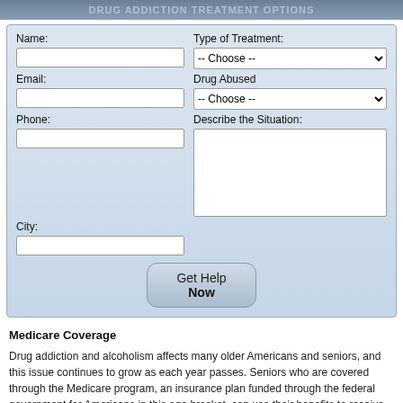Drug Addiction Treatment Options
[Figure (screenshot): Web form with fields: Name, Email, Phone, City (left column); Type of Treatment (dropdown), Drug Abused (dropdown), Describe the Situation (textarea) (right column); Get Help Now button]
Medicare Coverage
Drug addiction and alcoholism affects many older Americans and seniors, and this issue continues to grow as each year passes. Seniors who are covered through the Medicare program, an insurance plan funded through the federal government for Americans in this age bracket, can use their benefits to receive treatment services for addiction at a variety of substance abuse rehab programs around the country. Medicare covers both inpatient and outpatient rehabilitation facilities, and seniors who wish to receive help can consult with their primary care physician to choose a treatment program covered by Medicare which would fit his or her particular needs.